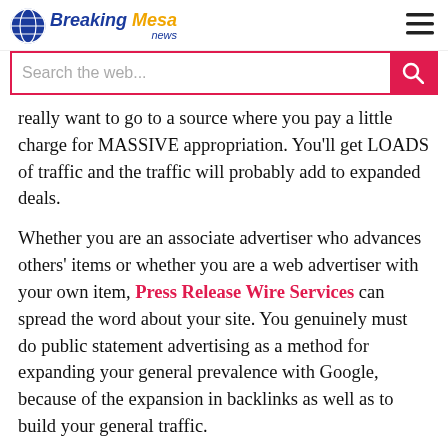Breaking Mesa news
really want to go to a source where you pay a little charge for MASSIVE appropriation. You'll get LOADS of traffic and the traffic will probably add to expanded deals.
Whether you are an associate advertiser who advances others' items or whether you are a web advertiser with your own item, Press Release Wire Services can spread the word about your site. You genuinely must do public statement advertising as a method for expanding your general prevalence with Google, because of the expansion in backlinks as well as to build your general traffic.
There are incalculable examinations and articles featuring the advantages of a PR Wires for online organizations. From creating traffic, inbound connections and business or item buzz, to getting positive press and front and center